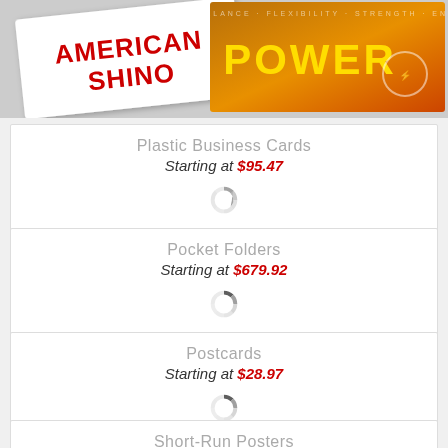[Figure (photo): Top image showing two overlapping business cards/marketing materials: one white card with 'AMERICAN SHINGO' in red text, and one orange/gold card with 'POWER' in yellow text against a dark orange background with text 'BALANCE FLEXIBILITY STRENGTH END']
Plastic Business Cards
Starting at $95.47
[Figure (other): Loading spinner circle icon (gray segmented ring)]
Pocket Folders
Starting at $679.92
[Figure (other): Loading spinner circle icon (gray segmented ring)]
Postcards
Starting at $28.97
[Figure (other): Loading spinner circle icon (gray segmented ring)]
Short-Run Posters
Starting at $4.77